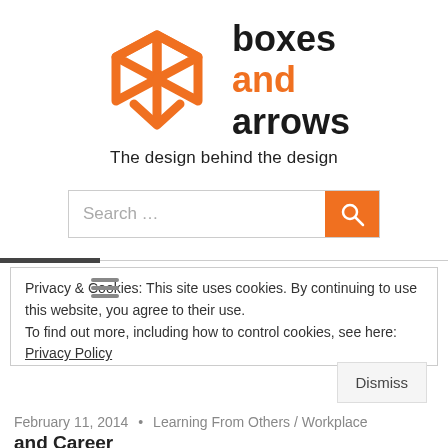[Figure (logo): Boxes and Arrows logo: orange geometric box shape icon with text 'boxes and arrows' where 'and' is in orange]
The design behind the design
[Figure (other): Search input field with placeholder 'Search ...' and an orange search button with magnifying glass icon]
Privacy & Cookies: This site uses cookies. By continuing to use this website, you agree to their use.
To find out more, including how to control cookies, see here: Privacy Policy
Dismiss
February 11, 2014  •  Learning From Others / Workplace and Career